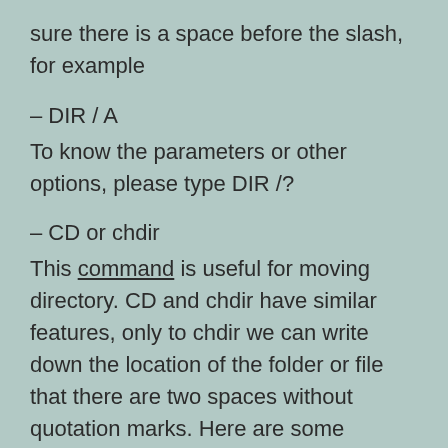sure there is a space before the slash, for example
– DIR / A
To know the parameters or other options, please type DIR /?
– CD or chdir
This command is useful for moving directory. CD and chdir have similar features, only to chdir we can write down the location of the folder or file that there are two spaces without quotation marks. Here are some examples of commands and functions: